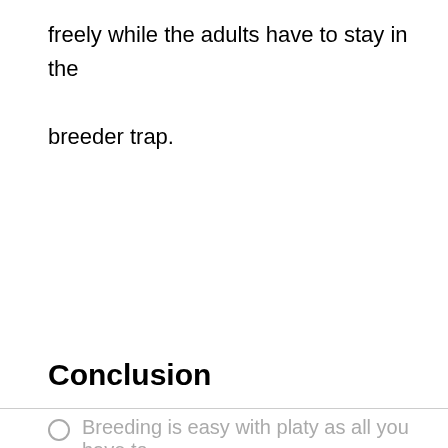freely while the adults have to stay in the breeder trap.
Conclusion
Breeding is easy with platy as all you have to